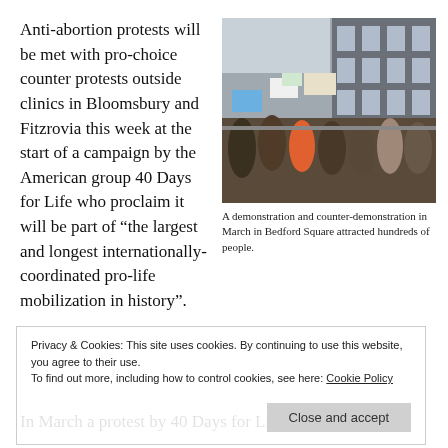Anti-abortion protests will be met with pro-choice counter protests outside clinics in Bloomsbury and Fitzrovia this week at the start of a campaign by the American group 40 Days for Life who proclaim it will be part of “the largest and longest internationally-coordinated pro-life mobilization in history”.
[Figure (photo): A crowd of protesters holding signs at a demonstration and counter-demonstration in Bedford Square.]
A demonstration and counter-demonstration in March in Bedford Square attracted hundreds of people.
Privacy & Cookies: This site uses cookies. By continuing to use this website, you agree to their use. To find out more, including how to control cookies, see here: Cookie Policy
In March a protest by 40 Days for Life came to